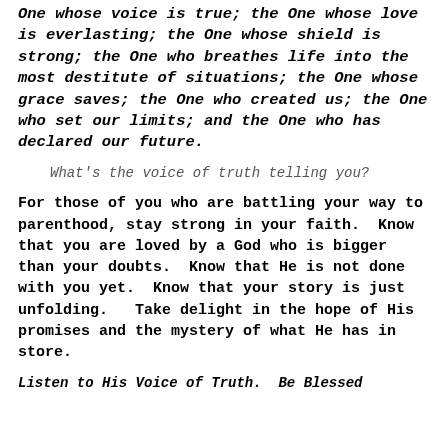One whose voice is true; the One whose love is everlasting; the One whose shield is strong; the One who breathes life into the most destitute of situations; the One whose grace saves; the One who created us; the One who set our limits; and the One who has declared our future.
What's the voice of truth telling you?
For those of you who are battling your way to parenthood, stay strong in your faith.  Know that you are loved by a God who is bigger than your doubts.  Know that He is not done with you yet.  Know that your story is just unfolding.   Take delight in the hope of His promises and the mystery of what He has in store.
Listen to His Voice of Truth.  Be Blessed